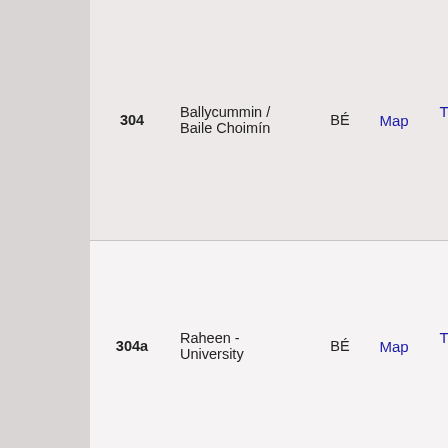| Route | Destination | Operator | Map | Times | Description |
| --- | --- | --- | --- | --- | --- |
| 304 | Ballycummin / Baile Choimín | BÉ | Map | Times | Sarsfield St, Ballycurra R, Gardens, B Rd, Ballycu, Ballycummi, Nessan's R

Mon - Fri: e until midnig |
| 304a | Raheen - University | BÉ | Map | Times | Plassey Pa Rd, Dublin  O'Connell A Avonmore R

Mon-Sat, ev Sun, every |
| 305 | St. Mary's Park | BÉ | Map | Times | Through fro Arthur's Qu Island Rd, S St Ita's St |